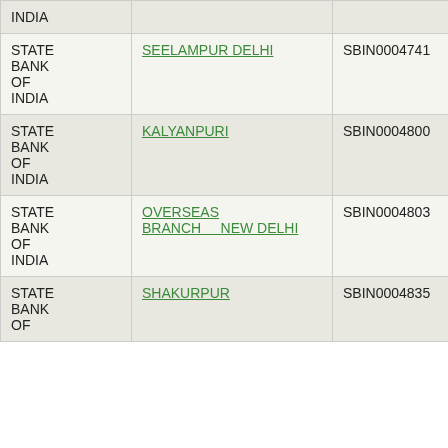| Bank | Branch | IFSC | MICR |
| --- | --- | --- | --- |
| STATE BANK OF INDIA |  |  |  |
| STATE BANK OF INDIA | SEELAMPUR DELHI | SBIN0004741 | 110002112 |
| STATE BANK OF INDIA | KALYANPURI | SBIN0004800 | 110002060 |
| STATE BANK OF INDIA | OVERSEAS BRANCH NEW DELHI | SBIN0004803 | 110002095 |
| STATE BANK OF INDIA | SHAKURPUR | SBIN0004835 | 110002116 |